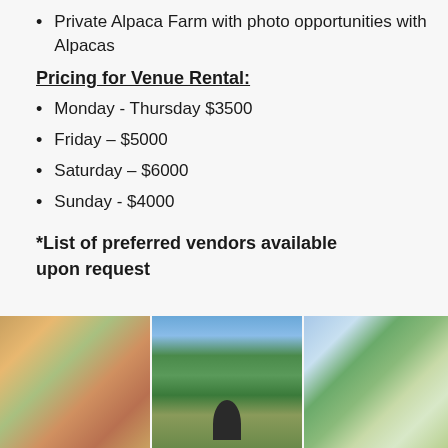Private Alpaca Farm with photo opportunities with Alpacas
Pricing for Venue Rental:
Monday - Thursday $3500
Friday – $5000
Saturday – $6000
Sunday - $4000
*List of preferred vendors available upon request
[Figure (photo): Three side-by-side photos of an alpaca farm venue: colorful foliage close-up on left, person standing near trees by a lake in center, outdoor event space with trees and open field on right]